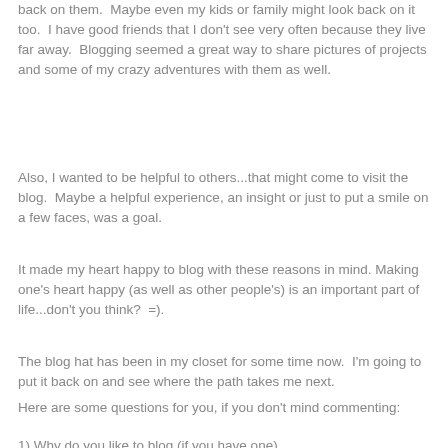back on them.  Maybe even my kids or family might look back on it too.  I have good friends that I don't see very often because they live far away.  Blogging seemed a great way to share pictures of projects and some of my crazy adventures with them as well.
Also, I wanted to be helpful to others...that might come to visit the blog.  Maybe a helpful experience, an insight or just to put a smile on a few faces, was a goal.
It made my heart happy to blog with these reasons in mind.  Making one's heart happy (as well as other people's) is an important part of life...don't you think?  =).
The blog hat has been in my closet for some time now.  I'm going to put it back on and see where the path takes me next.
Here are some questions for you, if you don't mind commenting:
1) Why do you like to blog (if you have one)